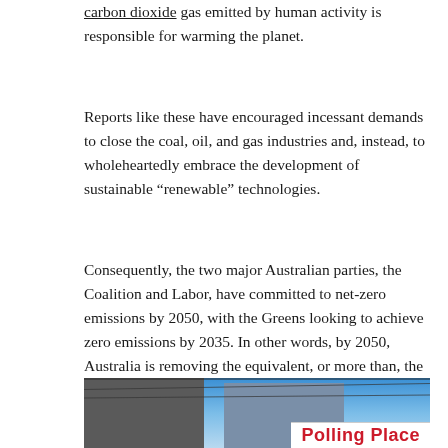carbon dioxide gas emitted by human activity is responsible for warming the planet.
Reports like these have encouraged incessant demands to close the coal, oil, and gas industries and, instead, to wholeheartedly embrace the development of sustainable “renewable” technologies.
Consequently, the two major Australian parties, the Coalition and Labor, have committed to net-zero emissions by 2050, with the Greens looking to achieve zero emissions by 2035. In other words, by 2050, Australia is removing the equivalent, or more than, the amount of carbon dioxide it is emitting.
[Figure (photo): A photograph of a polling place exterior with a 'Polling Place' banner visible in red text, a building facade and blue sky in the background.]